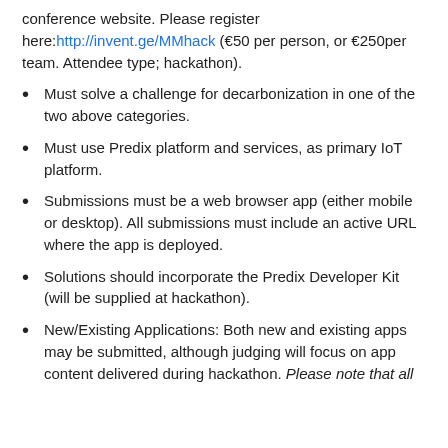conference website. Please register here:http://invent.ge/MMhack (€50 per person, or €250per team. Attendee type; hackathon).
Must solve a challenge for decarbonization in one of the two above categories.
Must use Predix platform and services, as primary IoT platform.
Submissions must be a web browser app (either mobile or desktop). All submissions must include an active URL where the app is deployed.
Solutions should incorporate the Predix Developer Kit (will be supplied at hackathon).
New/Existing Applications: Both new and existing apps may be submitted, although judging will focus on app content delivered during hackathon. Please note that all